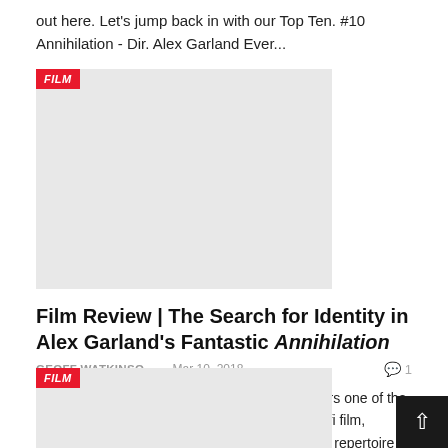out here. Let's jump back in with our Top Ten. #10 Annihilation - Dir. Alex Garland Ever...
[Figure (photo): Gray placeholder image with a red FILM badge in the top-left corner]
Film Review | The Search for Identity in Alex Garland's Fantastic Annihilation
GEOFF WATKINSO...   Mar 10, 2018   💬 1
*Contains mild spoilers* Natalie Portman delivers one of the best performances of her career in the new sci-fi film, Annihilation. The film offers a subdued thematic repertoire of creation and destruction that leaves one reflecting for...
[Figure (photo): Gray placeholder image with a red FILM badge in the top-left corner, partially visible at bottom]